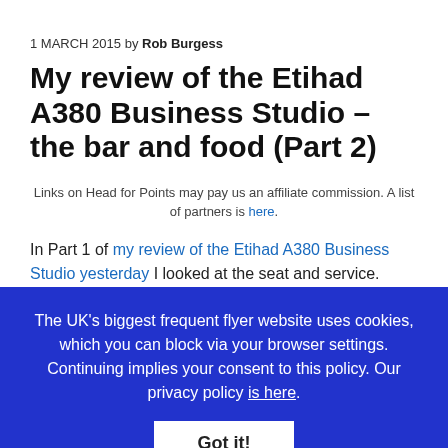1 MARCH 2015 by Rob Burgess
My review of the Etihad A380 Business Studio – the bar and food (Part 2)
Links on Head for Points may pay us an affiliate commission. A list of partners is here.
In Part 1 of my review of the Etihad A380 Business Studio yesterday I looked at the seat and service. Today I want
The UK's biggest frequent flyer website uses cookies, which you can block via your browser settings. Continuing implies your consent to this policy. Our privacy policy is here.
Got it!